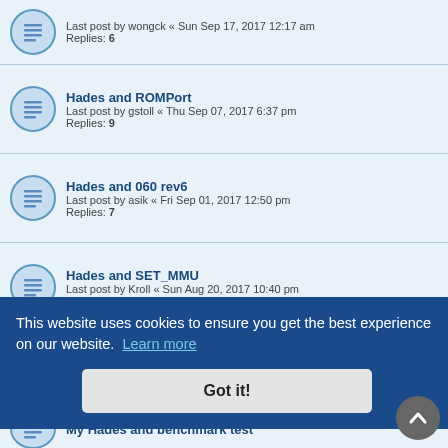Last post by wongck « Sun Sep 17, 2017 12:17 am
Replies: 6
Hades and ROMPort
Last post by gstoll « Thu Sep 07, 2017 6:37 pm
Replies: 9
Hades and 060 rev6
Last post by asik « Fri Sep 01, 2017 12:50 pm
Replies: 7
Hades and SET_MMU
Last post by Kroll « Sun Aug 20, 2017 10:40 pm
Replies: 6
Problem with Hades - no picture
Last post by Kroll « Fri Jun 09, 2017 8:20 am
Replies: 35
Milan motherboard
Last post by 1st1 « Wed Apr 05, 2017 7:55 am
Replies: 2
My Hades and benchmark test
This website uses cookies to ensure you get the best experience on our website. Learn more
Got it!